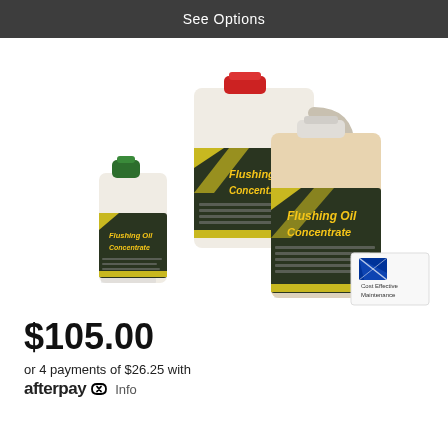See Options
[Figure (photo): Three bottles/containers of Flushing Oil Concentrate product in different sizes: a small bottle with green cap, a medium jug with red cap, and a large bottle. A small 'Cost Effective Maintenance' logo badge is visible in the bottom right.]
$105.00
or 4 payments of $26.25 with afterpay Info